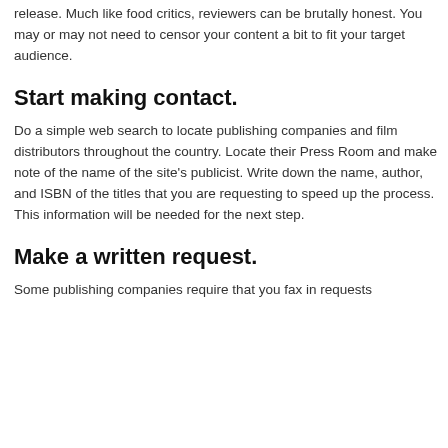Make sure that you clear your role in the company with the Editor before setting out to express your opinion about an upcoming new release. Much like food critics, reviewers can be brutally honest. You may or may not need to censor your content a bit to fit your target audience.
Start making contact.
Do a simple web search to locate publishing companies and film distributors throughout the country. Locate their Press Room and make note of the name of the site's publicist. Write down the name, author, and ISBN of the titles that you are requesting to speed up the process. This information will be needed for the next step.
Make a written request.
Some publishing companies require that you fax in requests